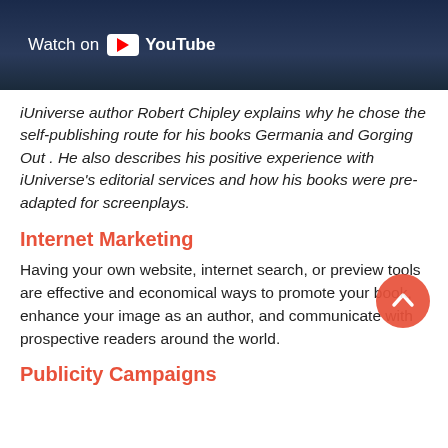[Figure (screenshot): YouTube video thumbnail with 'Watch on YouTube' overlay button on a dark blue background]
iUniverse author Robert Chipley explains why he chose the self-publishing route for his books Germania and Gorging Out . He also describes his positive experience with iUniverse’s editorial services and how his books were pre-adapted for screenplays.
Internet Marketing
Having your own website, internet search, or preview tools are effective and economical ways to promote your book, enhance your image as an author, and communicate with prospective readers around the world.
Publicity Campaigns